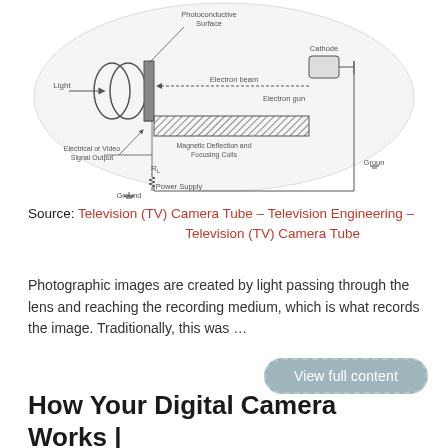[Figure (schematic): Diagram of a television camera tube showing components: Light, lens, Photoconductive Surface, Cathode, Electron beam, Electron gun, Magnetic Deflection and Focusing Coils, Electrical or Video Signal Output, R_L resistor, Power Supply, Ground, and Groun connections, all inside a circular frame.]
Source: Television (TV) Camera Tube – Television Engineering – Television (TV) Camera Tube
Photographic images are created by light passing through the lens and reaching the recording medium, which is what records the image. Traditionally, this was ...
View full content
How Your Digital Camera Works | B&H Expl